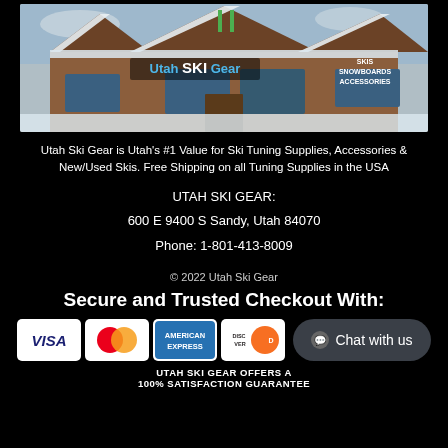[Figure (photo): Exterior photo of Utah Ski Gear store, a wooden building with snow on the roof, with a sign reading Utah SKI Gear and text Skis Snowboards Accessories]
Utah Ski Gear is Utah's #1 Value for Ski Tuning Supplies, Accessories & New/Used Skis. Free Shipping on all Tuning Supplies in the USA
UTAH SKI GEAR:
600 E 9400 S Sandy, Utah 84070
Phone: 1-801-413-8009
© 2022 Utah Ski Gear
Secure and Trusted Checkout With:
[Figure (other): Payment method logos: Visa, MasterCard, American Express, Discover, plus Chat with us button]
UTAH SKI GEAR OFFERS A 100% SATISFACTION GUARANTEE